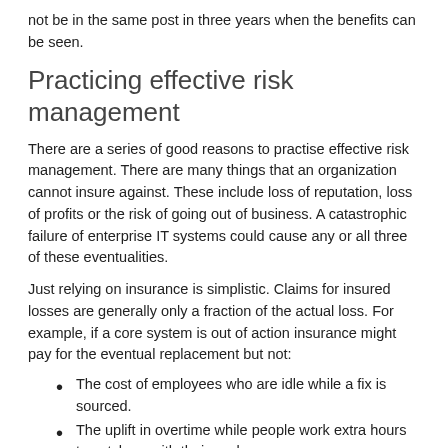not be in the same post in three years when the benefits can be seen.
Practicing effective risk management
There are a series of good reasons to practise effective risk management. There are many things that an organization cannot insure against. These include loss of reputation, loss of profits or the risk of going out of business. A catastrophic failure of enterprise IT systems could cause any or all three of these eventualities.
Just relying on insurance is simplistic. Claims for insured losses are generally only a fraction of the actual loss. For example, if a core system is out of action insurance might pay for the eventual replacement but not:
The cost of employees who are idle while a fix is sourced.
The uplift in overtime while people work extra hours to catch up with their work.
The cost of lost business, losing customers while orders